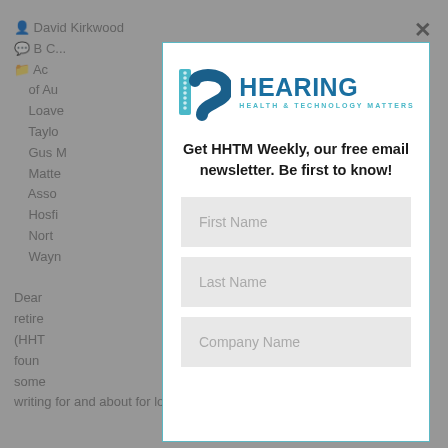David Kirkwood
B C...
Ac... Academy of Au... Loave... Taylor... / Gus M... Matters... Ass... Hosfi... North... n / Wayn...
Dear ... retire... (HHTM... found... some... en writing for and about for longer than I could ever have...
[Figure (logo): Hearing Health & Technology Matters logo with stylized h icon in teal/blue]
Get HHTM Weekly, our free email newsletter. Be first to know!
First Name
Last Name
Company Name